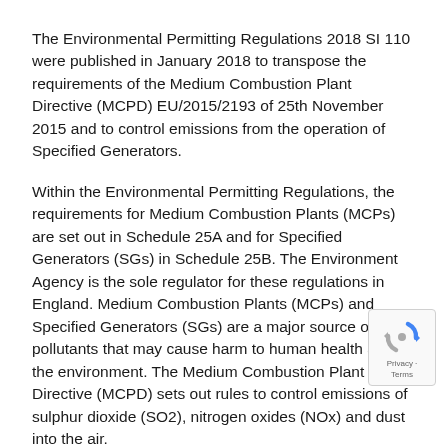The Environmental Permitting Regulations 2018 SI 110 were published in January 2018 to transpose the requirements of the Medium Combustion Plant Directive (MCPD) EU/2015/2193 of 25th November 2015 and to control emissions from the operation of Specified Generators.
Within the Environmental Permitting Regulations, the requirements for Medium Combustion Plants (MCPs) are set out in Schedule 25A and for Specified Generators (SGs) in Schedule 25B. The Environment Agency is the sole regulator for these regulations in England. Medium Combustion Plants (MCPs) and Specified Generators (SGs) are a major source of air pollutants that may cause harm to human health and the environment. The Medium Combustion Plant Directive (MCPD) sets out rules to control emissions of sulphur dioxide (SO2), nitrogen oxides (NOx) and dust into the air.
MCPD applies to all combustion plants with a rated thermal input equal to or greater than 1 MWth and than 50 MWth regardless of the fuel type. An example